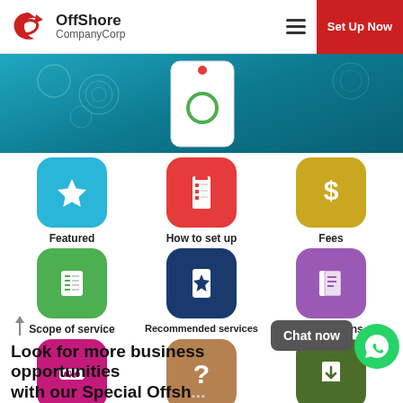OffShore CompanyCorp | Set Up Now
[Figure (screenshot): Website screenshot banner with teal/blue gradient background and phone mockup]
[Figure (infographic): Icon grid with 9 app-style icons: Featured (star, blue), How to set up (building, red), Fees (dollar, gold), Scope of service (list, green), Recommended services (star bookmark, navy), Publications (document, purple), Promotion (ticket, pink), FAQs (question mark, tan), Download (download icon, dark green)]
Look for more business opportunities with our Special Offshore...